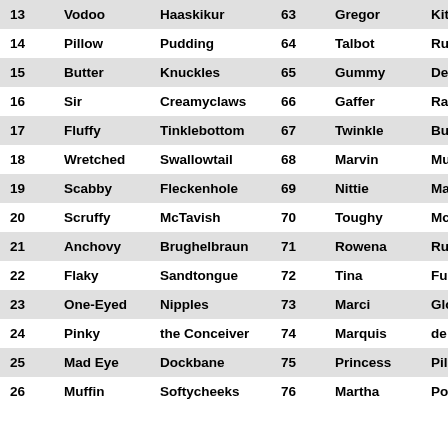| # | First | Last | # | First | Last |
| --- | --- | --- | --- | --- | --- |
| 13 | Vodoo | Haaskikur | 63 | Gregor | Kittenpar |
| 14 | Pillow | Pudding | 64 | Talbot | Rumplest |
| 15 | Butter | Knuckles | 65 | Gummy | Dewclaw |
| 16 | Sir | Creamyclaws | 66 | Gaffer | Rawhide |
| 17 | Fluffy | Tinklebottom | 67 | Twinkle | Butternu |
| 18 | Wretched | Swallowtail | 68 | Marvin | Musklord |
| 19 | Scabby | Fleckenhole | 69 | Nittie | Mattfur |
| 20 | Scruffy | McTavish | 70 | Toughy | Mcknicker |
| 21 | Anchovy | Brughelbraun | 71 | Rowena | Rufflebot |
| 22 | Flaky | Sandtongue | 72 | Tina | Furlips |
| 23 | One-Eyed | Nipples | 73 | Marci | Gloomhou |
| 24 | Pinky | the Conceiver | 74 | Marquis | de Rumph |
| 25 | Mad Eye | Dockbane | 75 | Princess | Pillowpuss |
| 26 | Muffin | Softycheeks | 76 | Martha | Poot |